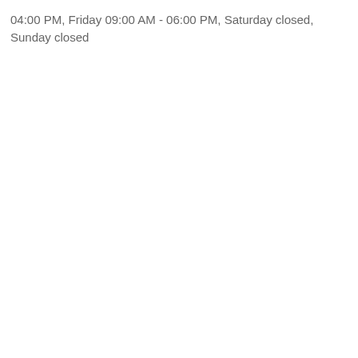04:00 PM, Friday 09:00 AM - 06:00 PM, Saturday closed, Sunday closed